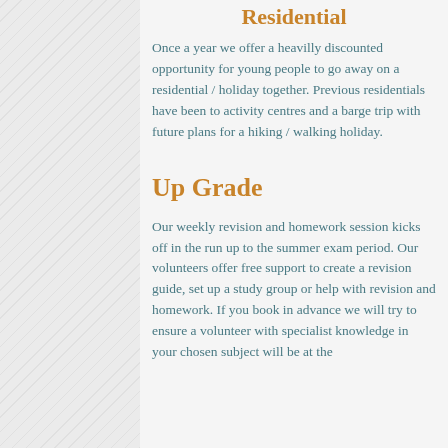Residential
Once a year we offer a heavilly discounted opportunity for young people to go away on a residential / holiday together. Previous residentials have been to activity centres and a barge trip with future plans for a hiking / walking holiday.
Up Grade
Our weekly revision and homework session kicks off in the run up to the summer exam period. Our volunteers offer free support to create a revision guide, set up a study group or help with revision and homework. If you book in advance we will try to ensure a volunteer with specialist knowledge in your chosen subject will be at the